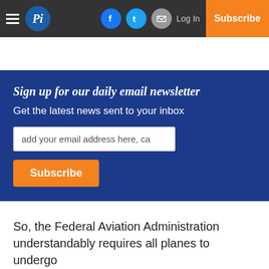Pi — Sign up for our daily email newsletter
Sign up for our daily email newsletter
Get the latest news sent to your inbox
add your email address here, ca
Subscribe
So, the Federal Aviation Administration understandably requires all planes to undergo